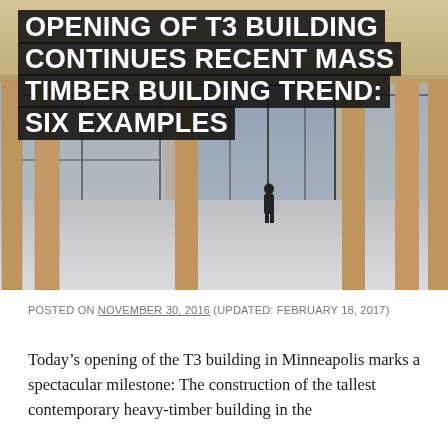[Figure (photo): Interior of T3 building in Minneapolis showing exposed mass timber ceiling, wooden columns, large floor-to-ceiling windows, polished concrete floor, and a silhouette of a person standing in front of the central window bank.]
OPENING OF T3 BUILDING CONTINUES RECENT MASS TIMBER BUILDING TREND: SIX EXAMPLES
POSTED ON NOVEMBER 30, 2016 (UPDATED: FEBRUARY 18, 2017)
Today’s opening of the T3 building in Minneapolis marks a spectacular milestone: The construction of the tallest contemporary heavy-timber building in the